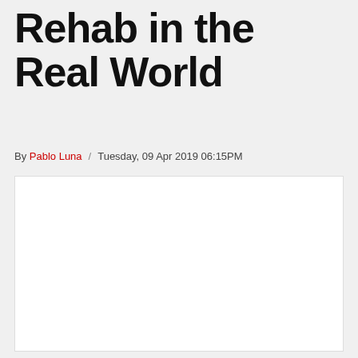Rehab in the Real World
By Pablo Luna / Tuesday, 09 Apr 2019 06:15PM
[Figure (photo): A white/blank image placeholder below the article byline]